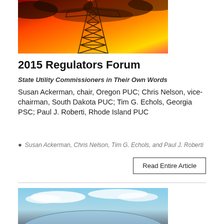[Figure (photo): Photo of an electrical transmission tower structure against a dramatic orange and red sunset sky with dark clouds.]
2015 Regulators Forum
State Utility Commissioners in Their Own Words
Susan Ackerman, chair, Oregon PUC; Chris Nelson, vice-chairman, South Dakota PUC; Tim G. Echols, Georgia PSC; Paul J. Roberti, Rhode Island PUC
Susan Ackerman, Chris Nelson, Tim G. Echols, and Paul J. Roberti
Read Entire Article
[Figure (photo): Photo of a coin or globe with a blue sky and clouds reflected or visible, showing a curved earth-like horizon.]